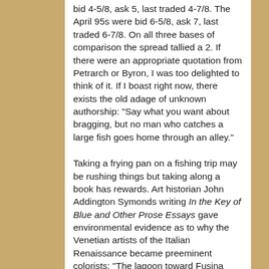bid 4-5/8, ask 5, last traded 4-7/8. The April 95s were bid 6-5/8, ask 7, last traded 6-7/8. On all three bases of comparison the spread tallied a 2. If there were an appropriate quotation from Petrarch or Byron, I was too delighted to think of it. If I boast right now, there exists the old adage of unknown authorship: "Say what you want about bragging, but no man who catches a large fish goes home through an alley."
Taking a frying pan on a fishing trip may be rushing things but taking along a book has rewards. Art historian John Addington Symonds writing In the Key of Blue and Other Prose Essays gave environmental evidence as to why the Venetian artists of the Italian Renaissance became preeminent colorists: "The lagoon toward Fusina takes the whole glory of Venetian sunset. The sun sinks down into the Lombard plain, (dying red) the vault of clouds and the vast mirrors of the undulating water floor. Colours which are cold by nature now assume an unexpected warmth. The blue of blouse and